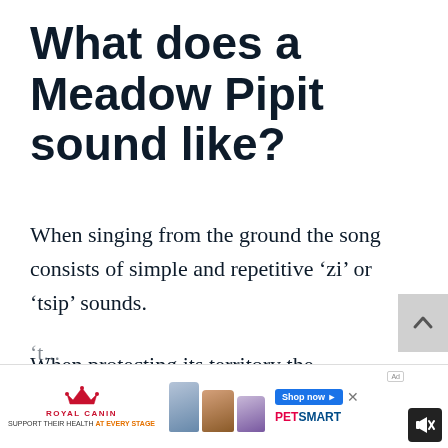What does a Meadow Pipit sound like?
When singing from the ground the song consists of simple and repetitive ‘zi’ or ‘tsip’ sounds.
When protecting its territory the meadow pipit has a call, issued in flight, similar to a
[Figure (other): Royal Canin advertisement banner showing pet food product packages and PetSmart branding with 'Support Their Health At Every Stage' tagline]